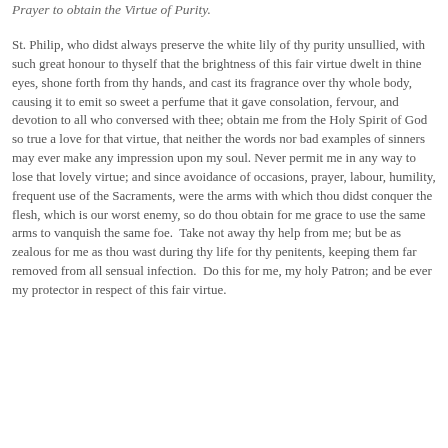Prayer to obtain the Virtue of Purity.
St. Philip, who didst always preserve the white lily of thy purity unsullied, with such great honour to thyself that the brightness of this fair virtue dwelt in thine eyes, shone forth from thy hands, and cast its fragrance over thy whole body, causing it to emit so sweet a perfume that it gave consolation, fervour, and devotion to all who conversed with thee; obtain me from the Holy Spirit of God so true a love for that virtue, that neither the words nor bad examples of sinners may ever make any impression upon my soul. Never permit me in any way to lose that lovely virtue; and since avoidance of occasions, prayer, labour, humility, frequent use of the Sacraments, were the arms with which thou didst conquer the flesh, which is our worst enemy, so do thou obtain for me grace to use the same arms to vanquish the same foe.  Take not away thy help from me; but be as zealous for me as thou wast during thy life for thy penitents, keeping them far removed from all sensual infection.  Do this for me, my holy Patron; and be ever my protector in respect of this fair virtue.